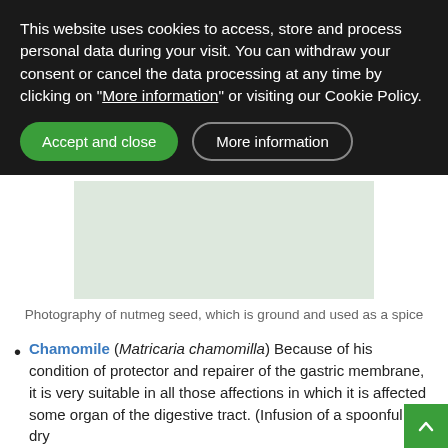This website uses cookies to access, store and process personal data during your visit. You can withdraw your consent or cancel the data processing at any time by clicking on "More information" or visiting our Cookie Policy.
Accept and close
More information
[Figure (photo): Photography of nutmeg seed, which is ground and used as a spice]
Photography of nutmeg seed, which is ground and used as a spice
Chamomile (Matricaria chamomilla) Because of his condition of protector and repairer of the gastric membrane, it is very suitable in all those affections in which it is affected some organ of the digestive tract. (Infusion of a spoonful of dry